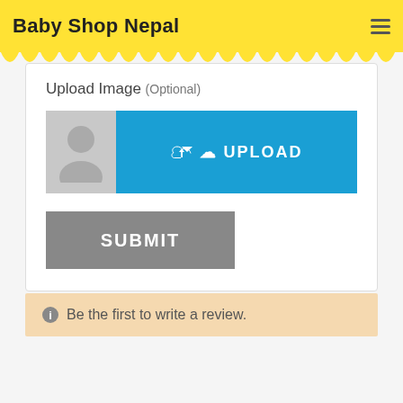Baby Shop Nepal
Upload Image (Optional)
[Figure (screenshot): Avatar placeholder image (gray silhouette person icon) and blue UPLOAD button with cloud icon]
[Figure (screenshot): Gray SUBMIT button]
Be the first to write a review.